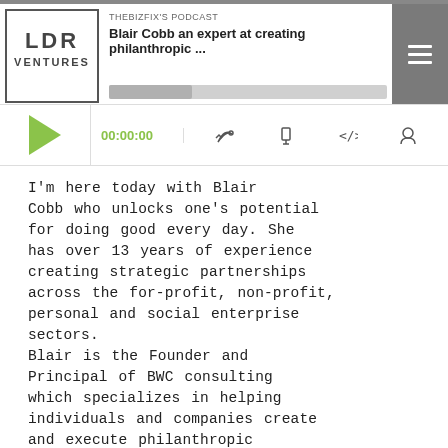[Figure (screenshot): Podcast player widget showing LDR Ventures logo, TheBizFix's Podcast label, episode title 'Blair Cobb an expert at creating philanthropic ...', playback controls, timestamp 00:00:00, and media icons]
I'm here today with Blair Cobb who unlocks one's potential for doing good every day. She has over 13 years of experience creating strategic partnerships across the for-profit, non-profit, personal and social enterprise sectors.
Blair is the Founder and Principal of BWC consulting which specializes in helping individuals and companies create and execute philanthropic